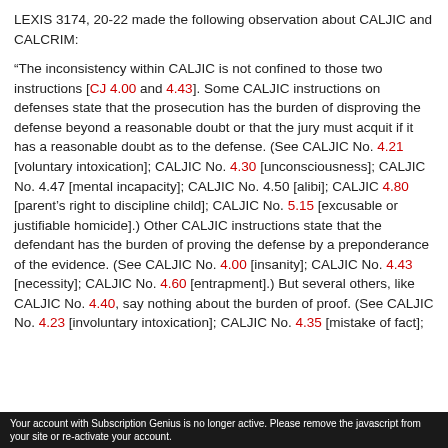LEXIS 3174, 20-22 made the following observation about CALJIC and CALCRIM:
“The inconsistency within CALJIC is not confined to those two instructions [CJ 4.00 and 4.43]. Some CALJIC instructions on defenses state that the prosecution has the burden of disproving the defense beyond a reasonable doubt or that the jury must acquit if it has a reasonable doubt as to the defense. (See CALJIC No. 4.21 [voluntary intoxication]; CALJIC No. 4.30 [unconsciousness]; CALJIC No. 4.47 [mental incapacity]; CALJIC No. 4.50 [alibi]; CALJIC 4.80 [parent’s right to discipline child]; CALJIC No. 5.15 [excusable or justifiable homicide].) Other CALJIC instructions state that the defendant has the burden of proving the defense by a preponderance of the evidence. (See CALJIC No. 4.00 [insanity]; CALJIC No. 4.43 [necessity]; CALJIC No. 4.60 [entrapment].) But several others, like CALJIC No. 4.40, say nothing about the burden of proof. (See CALJIC No. 4.23 [involuntary intoxication]; CALJIC No. 4.35 [mistake of fact];
Your account with Subscription Genius is no longer active. Please remove the javascript from your site or re-activate your account.